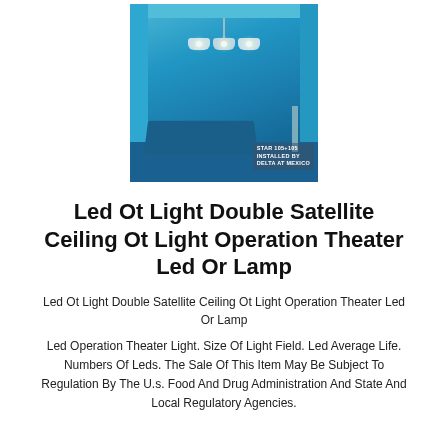[Figure (photo): Operating theater room with surgical LED lights on ceiling and a blue operating table in the center. Watermark reads: STAR 105+105 INSTALLED BY DELTA AT MEXICO]
Led Ot Light Double Satellite Ceiling Ot Light Operation Theater Led Or Lamp
Led Ot Light Double Satellite Ceiling Ot Light Operation Theater Led Or Lamp
Led Operation Theater Light. Size Of Light Field. Led Average Life. Numbers Of Leds. The Sale Of This Item May Be Subject To Regulation By The U.s. Food And Drug Administration And State And Local Regulatory Agencies.